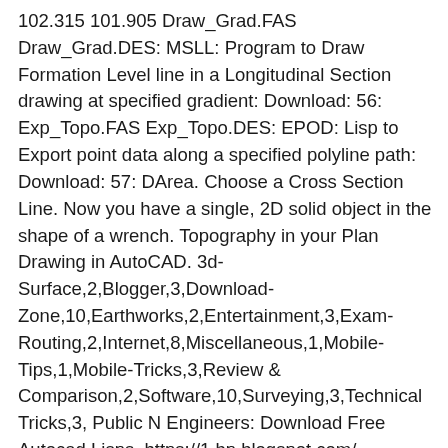102.315 101.905 Draw_Grad.FAS Draw_Grad.DES: MSLL: Program to Draw Formation Level line in a Longitudinal Section drawing at specified gradient: Download: 56: Exp_Topo.FAS Exp_Topo.DES: EPOD: Lisp to Export point data along a specified polyline path: Download: 57: DArea. Choose a Cross Section Line. Now you have a single, 2D solid object in the shape of a wrench. Topography in your Plan Drawing in AutoCAD. 3d-Surface,2,Blogger,3,Download-Zone,10,Earthworks,2,Entertainment,3,Exam-Routing,2,Internet,8,Miscellaneous,1,Mobile-Tips,1,Mobile-Tricks,3,Review & Comparison,2,Software,10,Surveying,3,Technical Tricks,3, Public N Engineers: Download Free Autocad Lisps, https://1.bp.blogspot.com/-nCLPHw-EZrw/XQOQvupAz2I/AAAAAAAAAYw/fv1g4ddiBYcKvvrMnYBNd9Cq2hjPie4KQCLcBGAs/s640/Download-Free-Autocad-Lisps.jpg, https://1.bp.blogspot.com/-nCLPHw-EZrw/XQOQvupAz2I/AAAAAAAAAYw/fv1g4ddiBYcKvvrMnY